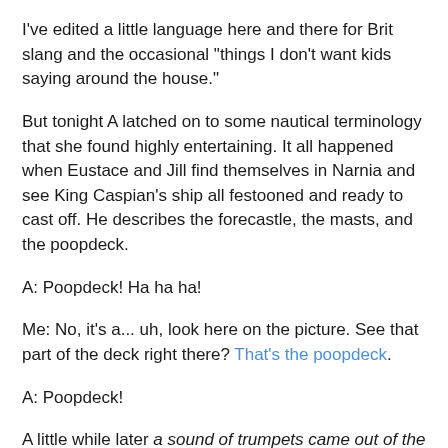I've edited a little language here and there for Brit slang and the occasional "things I don't want kids saying around the house."
But tonight A latched on to some nautical terminology that she found highly entertaining. It all happened when Eustace and Jill find themselves in Narnia and see King Caspian's ship all festooned and ready to cast off. He describes the forecastle, the masts, and the poopdeck.
A: Poopdeck! Ha ha ha!
Me: No, it's a... uh, look here on the picture. See that part of the deck right there? That's the poopdeck.
A: Poopdeck!
A little while later a sound of trumpets came out of the poop as the ship set off. Which was pretty much the end of the chapter so far as A was concerned.